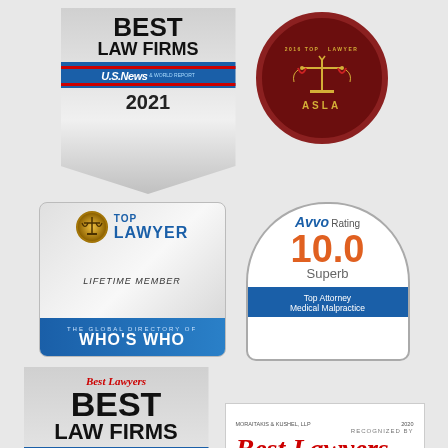[Figure (logo): U.S. News & World Report Best Law Firms 2021 badge - silver pentagon shape with blue ribbon]
[Figure (logo): ASLA 2016 Top Lawyer circular badge, dark maroon with gold border and scales of justice]
[Figure (logo): Top Lawyer Lifetime Member - The Global Directory of Who's Who badge]
[Figure (logo): Avvo Rating 10.0 Superb Top Attorney Medical Malpractice badge]
[Figure (logo): Best Lawyers Best Law Firms U.S. News & World Report 2019 badge]
[Figure (logo): Moraitakis & Kushel, LLP 2020 Recognized by Best Lawyers box]
[Figure (logo): Partial national award badge at bottom, gold/bronze circular badge partially visible]